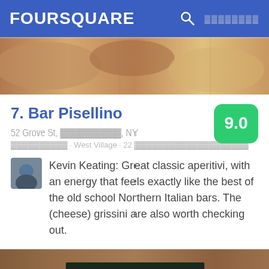FOURSQUARE
[Figure (photo): Food photo showing bread/charcuterie items]
7. Bar Pisellino
52 Grove St, [redacted], NY
[redacted] · West Village · 22 [redacted]
Kevin Keating: Great classic aperitivi, with an energy that feels exactly like the best of the old school Northern Italian bars. The (cheese) grissini are also worth checking out.
[Figure (photo): Le Grainne Cafe storefront with green awning]